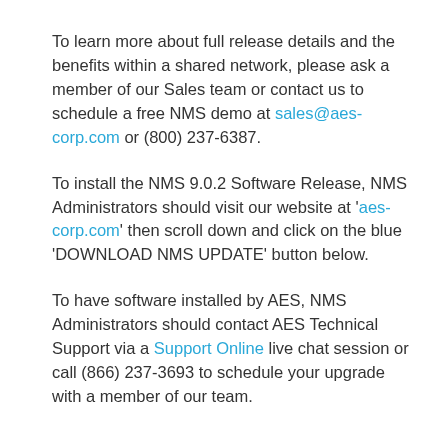To learn more about full release details and the benefits within a shared network, please ask a member of our Sales team or contact us to schedule a free NMS demo at sales@aes-corp.com or (800) 237-6387.
To install the NMS 9.0.2 Software Release, NMS Administrators should visit our website at 'aes-corp.com' then scroll down and click on the blue 'DOWNLOAD NMS UPDATE' button below.
To have software installed by AES, NMS Administrators should contact AES Technical Support via a Support Online live chat session or call (866) 237-3693 to schedule your upgrade with a member of our team.